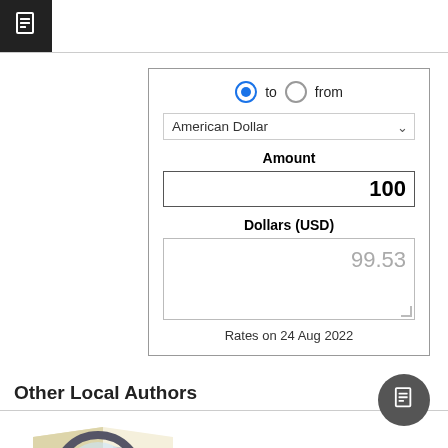[Figure (screenshot): Black square icon with white document/page symbol in top-left corner]
[Figure (screenshot): Currency converter UI widget: radio buttons for 'to' (selected) and 'from', dropdown showing 'American Dollar', Amount input showing 100, Dollars (USD) result showing 99.53, Rates on 24 Aug 2022]
Other Local Authors
[Figure (illustration): Illustration of an open book with a magnifying glass on top]
Books by local authors can be sourced. Email me for an up-to-date list of local publications or books about Ballina/Mayo in general.
Blog Calendar